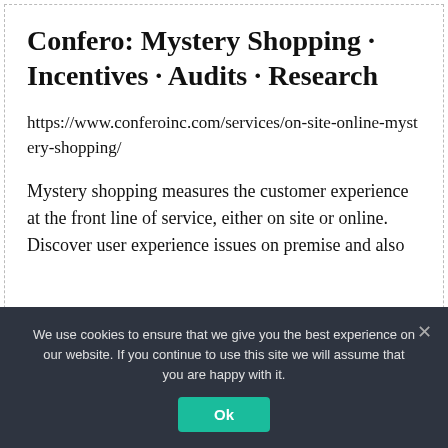Confero: Mystery Shopping · Incentives · Audits · Research
https://www.conferoinc.com/services/on-site-online-mystery-shopping/
Mystery shopping measures the customer experience at the front line of service, either on site or online. Discover user experience issues on premise and also
We use cookies to ensure that we give you the best experience on our website. If you continue to use this site we will assume that you are happy with it.